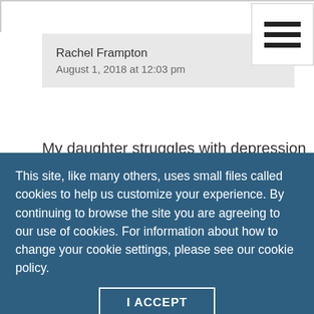Rachel Frampton
August 1, 2018 at 12:03 pm
My daughter struggles with depression and I really appreciated your comments on helping people with depression stay mindful of what they are doing while they are doing it. I especially liked the “driving meditation” technique where you really
This site, like many others, uses small files called cookies to help us customize your experience. By continuing to browse the site you are agreeing to our use of cookies. For information about how to change your cookie settings, please see our cookie policy.
I ACCEPT